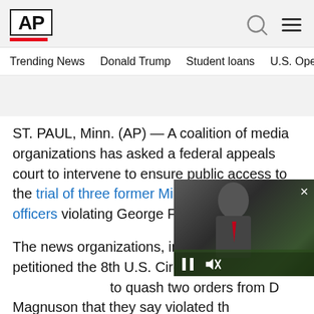[Figure (logo): AP (Associated Press) logo — bold black AP text in white box with red bar underneath]
Trending News   Donald Trump   Student loans   U.S. Open Tenn
ST. PAUL, Minn. (AP) — A coalition of media organizations has asked a federal appeals court to intervene to ensure public access to the trial of three former Minneapolis police officers violating George Floyd's civil rights
The news organizations, including petitioned the 8th U.S. Circuit Cou to quash two orders from D Magnuson that they say violated th
[Figure (screenshot): Floating video overlay showing a person in a suit, with video playback controls (pause button, mute icon), a progress bar, and a close (X) button]